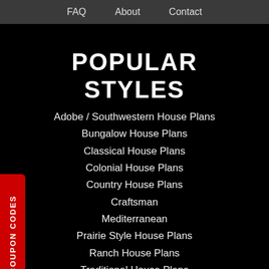FAQ   About   Contact
POPULAR STYLES
Adobe / Southwestern House Plans
Bungalow House Plans
Classical House Plans
Colonial House Plans
Country House Plans
Craftsman
Mediterranean
Prairie Style House Plans
Ranch House Plans
Traditional House Plans
Victorian House Plans
SPECIAL